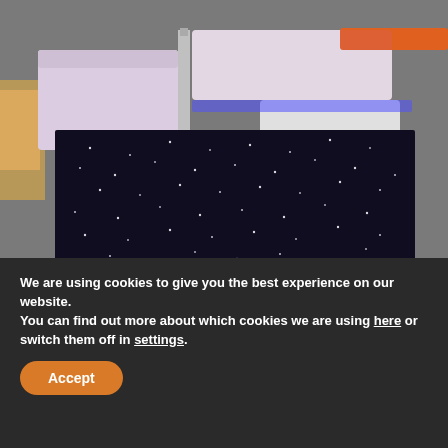[Figure (photo): Indoor event space with a black LED starlit dance floor surrounded by white upholstered cube seating. Colorful purple and orange lighting illuminates the seating area. The floor has small white LED lights creating a star pattern.]
We are using cookies to give you the best experience on our website.
You can find out more about which cookies we are using here or switch them off in settings.